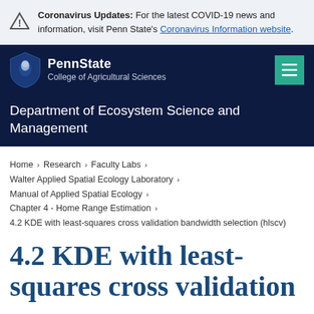Coronavirus Updates: For the latest COVID-19 news and information, visit Penn State's Coronavirus Information website.
PennState College of Agricultural Sciences
Department of Ecosystem Science and Management
Home > Research > Faculty Labs > Walter Applied Spatial Ecology Laboratory > Manual of Applied Spatial Ecology > Chapter 4 - Home Range Estimation > 4.2 KDE with least-squares cross validation bandwidth selection (hlscv)
4.2 KDE with least-squares cross validation bandwidth selection